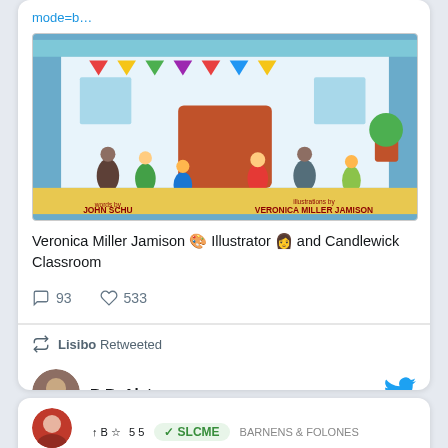mode=b…
[Figure (illustration): Children's book cover: 'words by John Schu, illustrations by Veronica Miller Jamison' — colorful scene of children outside a building with bunting.]
Veronica Miller Jamison 🎨 Illustrator 👩 and Candlewick Classroom
93 comments, 533 likes
Lisibo Retweeted
B.B. Alst…
[Figure (photo): Profile photo of a woman with red/auburn hair, circular crop, in second tweet card.]